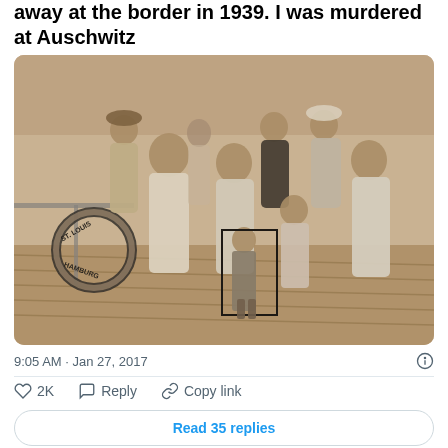away at the border in 1939. I was murdered at Auschwitz
[Figure (photo): Historical sepia photograph of a group of people standing on the deck of a ship called ST. LOUIS HAMBURG. The group includes several adults and children, one child highlighted with a bounding box. A life preserver ring is visible on the left.]
9:05 AM · Jan 27, 2017
2K   Reply   Copy link
Read 35 replies